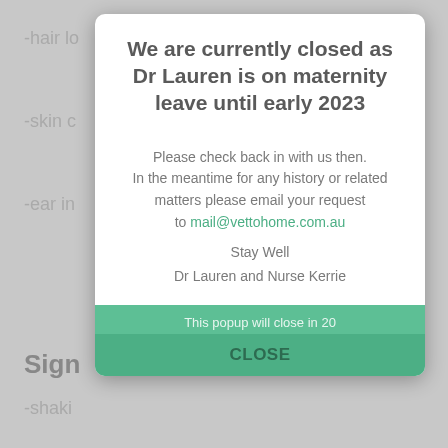-hair lo
-skin c
-ear in
Sign
-shaki
-head
-pain c
-hot ear
We are currently closed as Dr Lauren is on maternity leave until early 2023
Please check back in with us then.
In the meantime for any history or related matters please email your request to mail@vettohome.com.au
Stay Well
Dr Lauren and Nurse Kerrie
This popup will close in 20
CLOSE